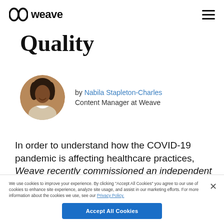weave
Quality
by Nabila Stapleton-Charles
Content Manager at Weave
In order to understand how the COVID-19 pandemic is affecting healthcare practices, Weave recently commissioned an independent survey
We use cookies to improve your experience. By clicking "Accept All Cookies" you agree to our use of cookies to enhance site experience, analyze site usage, and assist in our marketing efforts. For more information about the cookies we use, see our Privacy Policy.
Accept All Cookies